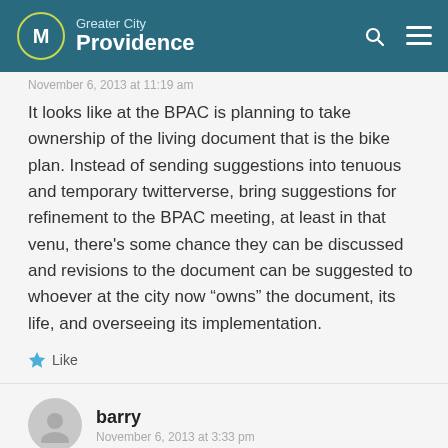Greater City Providence
November 6, 2013 at 11:19 am
It looks like at the BPAC is planning to take ownership of the living document that is the bike plan. Instead of sending suggestions into tenuous and temporary twitterverse, bring suggestions for refinement to the BPAC meeting, at least in that venu, there's some chance they can be discussed and revisions to the document can be suggested to whoever at the city now “owns” the document, its life, and overseeing its implementation.
Like
barry
November 6, 2013 at 3:33 pm
Also, please consider discussing bike plan elements with fellow bikers at the next meeting fo the RI